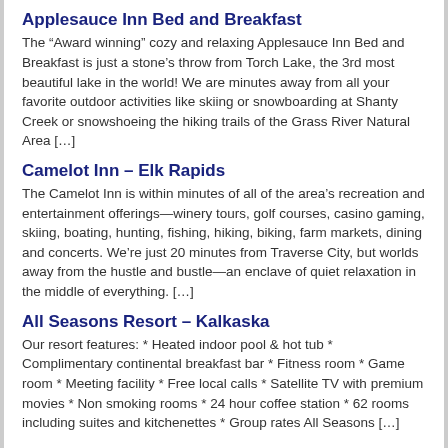Applesauce Inn Bed and Breakfast
The “Award winning” cozy and relaxing Applesauce Inn Bed and Breakfast is just a stone’s throw from Torch Lake, the 3rd most beautiful lake in the world! We are minutes away from all your favorite outdoor activities like skiing or snowboarding at Shanty Creek or snowshoeing the hiking trails of the Grass River Natural Area […]
Camelot Inn – Elk Rapids
The Camelot Inn is within minutes of all of the area’s recreation and entertainment offerings—winery tours, golf courses, casino gaming, skiing, boating, hunting, fishing, hiking, biking, farm markets, dining and concerts. We’re just 20 minutes from Traverse City, but worlds away from the hustle and bustle—an enclave of quiet relaxation in the middle of everything. […]
All Seasons Resort – Kalkaska
Our resort features: * Heated indoor pool & hot tub * Complimentary continental breakfast bar * Fitness room * Game room * Meeting facility * Free local calls * Satellite TV with premium movies * Non smoking rooms * 24 hour coffee station * 62 rooms including suites and kitchenettes * Group rates All Seasons […]